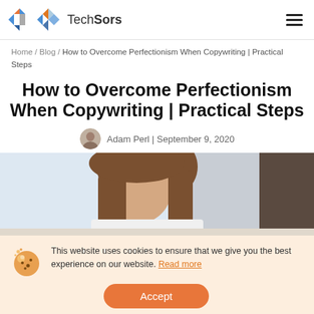TechSors
Home / Blog / How to Overcome Perfectionism When Copywriting | Practical Steps
How to Overcome Perfectionism When Copywriting | Practical Steps
Adam Perl | September 9, 2020
[Figure (photo): Woman with brown hair looking down, working, blurred office background]
This website uses cookies to ensure that we give you the best experience on our website. Read more
Accept